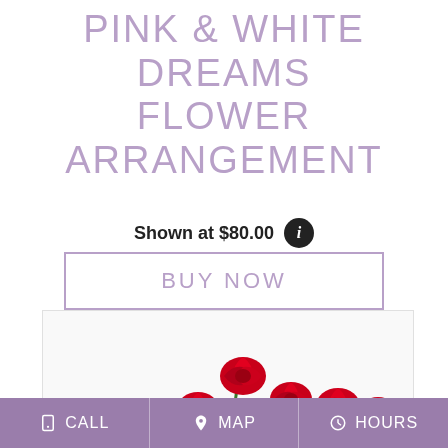PINK & WHITE DREAMS FLOWER ARRANGEMENT
Shown at $80.00
BUY NOW
[Figure (photo): A flower arrangement of red roses with green foliage on a white/light background]
CALL  MAP  HOURS